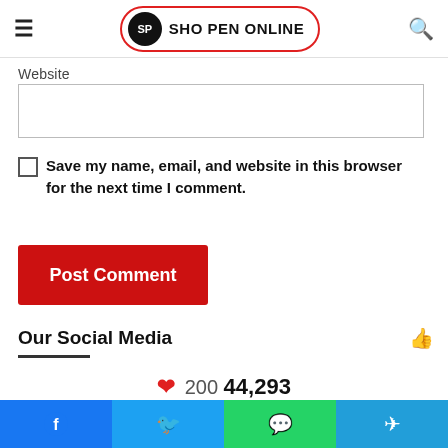SHO PEN ONLINE
Website
Save my name, email, and website in this browser for the next time I comment.
Post Comment
Our Social Media
❤ 200 44,293
44,293